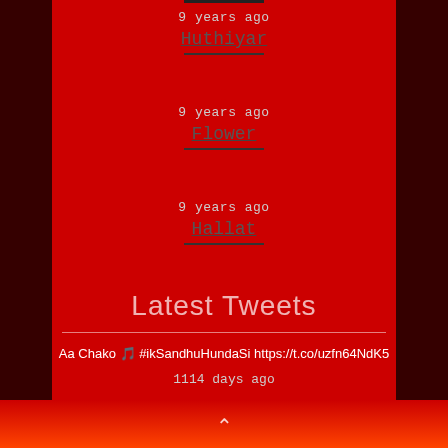9 years ago Huthiyar
9 years ago Flower
9 years ago Hallat
Latest Tweets
Aa Chako 🎵 #ikSandhuHundaSi https://t.co/uzfn64NdK5
1114 days ago
Welcome to Punjab @Officialneha https://t.co/WuNVyVOJ0U